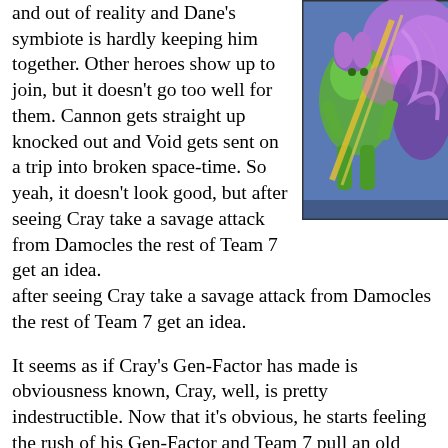and out of reality and Dane's symbiote is hardly keeping him together. Other heroes show up to join, but it doesn't go too well for them. Cannon gets straight up knocked out and Void gets sent on a trip into broken space-time. So yeah, it doesn't look good, but after seeing Cray take a savage attack from Damocles the rest of Team 7 get an idea.
[Figure (illustration): Comic book illustration showing colorful superhero/villain characters in action, with purple and green colors, dynamic poses, against a blue background.]
It seems as if Cray's Gen-Factor has made is obviousness known, Cray, well, is pretty indestructible. Now that it's obvious, he starts feeling the rush of his Gen-Factor and Team 7 pull an old trick to help him amplify it. Cole, Lynch, Dane, Alex, Slayton and even Ethan gather in a circle, hold hands and concentrate together. It's something they came across in their old Team 7 days. This not only helps amplify the Gen-Factor to